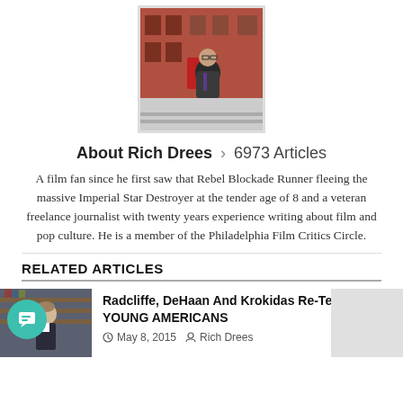[Figure (photo): Photo of Rich Drees, a man with glasses standing outside a brick building with a red door, wearing a dark jacket.]
About Rich Drees > 6973 Articles
A film fan since he first saw that Rebel Blockade Runner fleeing the massive Imperial Star Destroyer at the tender age of 8 and a veteran freelance journalist with twenty years experience writing about film and pop culture. He is a member of the Philadelphia Film Critics Circle.
RELATED ARTICLES
[Figure (photo): Thumbnail photo of a young actor in a suit, related to article about Radcliffe, DeHaan and Krokidas.]
Radcliffe, DeHaan And Krokidas Re-Team For YOUNG AMERICANS
May 8, 2015   Rich Drees